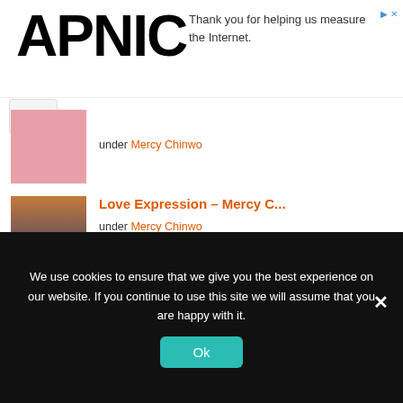APNIC
Thank you for helping us measure the Internet.
Love Expression – Mercy C... under Mercy Chinwo
The King is Coming by Nat... under Gospel Song, Nathaniel Bassey
We use cookies to ensure that we give you the best experience on our website. If you continue to use this site we will assume that you are happy with it.